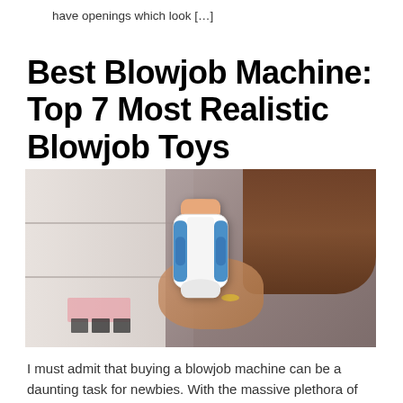have openings which look […]
Best Blowjob Machine: Top 7 Most Realistic Blowjob Toys
[Figure (photo): Woman holding a blue and white adult toy product, standing in front of a bookcase in a room with pink accents]
I must admit that buying a blowjob machine can be a daunting task for newbies. With the massive plethora of